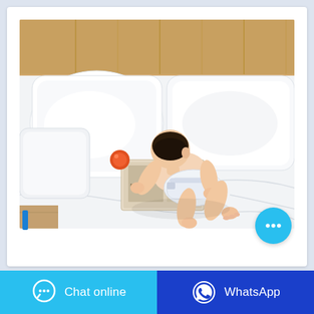[Figure (photo): A baby in a white diaper crawling on a white bed toward a small book and toy, with white pillows and a wooden headboard in the background. The baby is viewed from behind.]
[Figure (other): Light blue circular chat bubble button with three dots (...) icon, positioned at bottom-right of the photo area.]
Chat online
WhatsApp